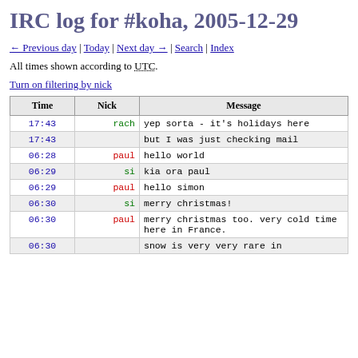IRC log for #koha, 2005-12-29
← Previous day | Today | Next day → | Search | Index
All times shown according to UTC.
Turn on filtering by nick
| Time | Nick | Message |
| --- | --- | --- |
| 17:43 | rach | yep sorta - it's holidays here |
| 17:43 |  | but I was just checking mail |
| 06:28 | paul | hello world |
| 06:29 | si | kia ora paul |
| 06:29 | paul | hello simon |
| 06:30 | si | merry christmas! |
| 06:30 | paul | merry christmas too. very cold time here in France. |
| 06:30 |  | snow is very very rare in |